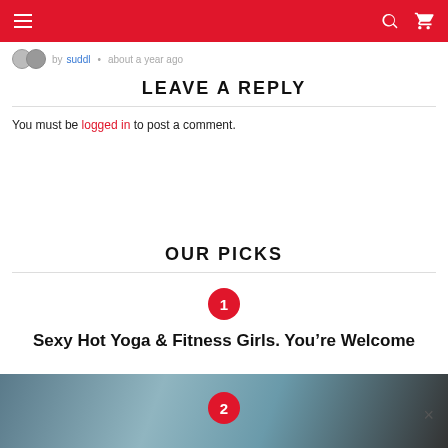Navigation bar with hamburger menu, search and cart icons
by suddl • about a year ago
LEAVE A REPLY
You must be logged in to post a comment.
OUR PICKS
1
Sexy Hot Yoga & Fitness Girls. You're Welcome
[Figure (photo): Partially visible image strip at bottom of page]
2